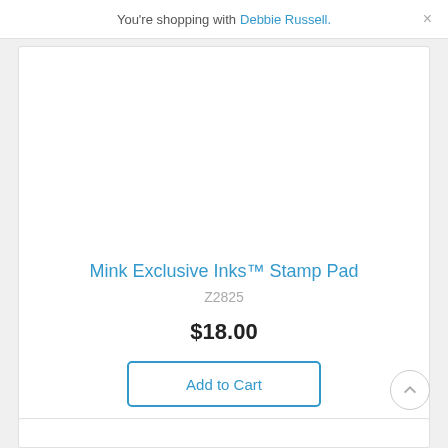You're shopping with Debbie Russell.
Mink Exclusive Inks™ Stamp Pad
Z2825
$18.00
Add to Cart